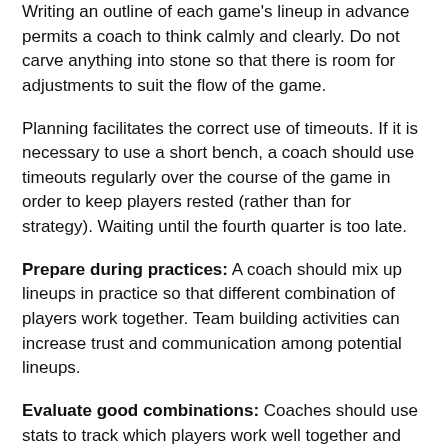Writing an outline of each game's lineup in advance permits a coach to think calmly and clearly. Do not carve anything into stone so that there is room for adjustments to suit the flow of the game.
Planning facilitates the correct use of timeouts. If it is necessary to use a short bench, a coach should use timeouts regularly over the course of the game in order to keep players rested (rather than for strategy). Waiting until the fourth quarter is too late.
Prepare during practices: A coach should mix up lineups in practice so that different combination of players work together. Team building activities can increase trust and communication among potential lineups.
Evaluate good combinations: Coaches should use stats to track which players work well together and maximize the